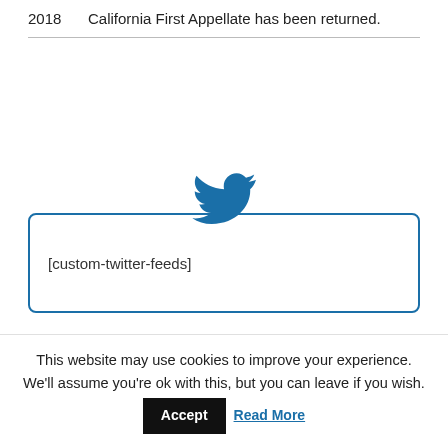2018    California First Appellate has been returned.
[Figure (illustration): Twitter bird logo in blue above a bordered box containing the text [custom-twitter-feeds]]
This website may use cookies to improve your experience. We'll assume you're ok with this, but you can leave if you wish. Accept   Read More